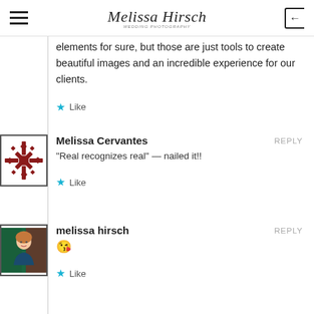Melissa Hirsch Wedding Photography
elements for sure, but those are just tools to create beautiful images and an incredible experience for our clients.
★ Like
Melissa Cervantes  REPLY
"Real recognizes real" — nailed it!!
★ Like
melissa hirsch  REPLY
😘
★ Like